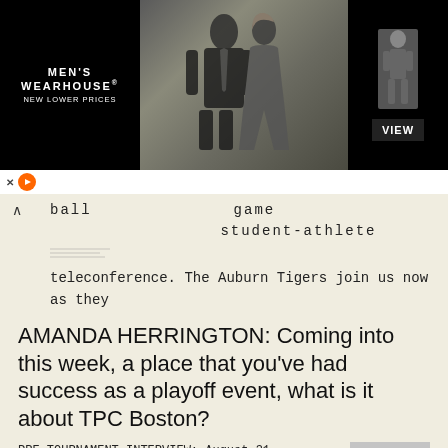[Figure (illustration): Men's Wearhouse advertisement banner showing a couple in formal wear (man in dark suit, woman in formal dress), a male figure mannequin on the right, and a VIEW button. Black background with brand name and 'New Lower Prices' text.]
ball game student-athlete teleconference. The Auburn Tigers join us now as they prepare
More information →
AMANDA HERRINGTON: Coming into this week, a place that you've had success as a playoff event, what is it about TPC Boston?
PRE-TOURNAMENT INTERVIEW: August 31, 2016 SEAN O HAIR AMANDA HERRINGTON: We'll go ahead and get started. We would like to welcome Sean O'Hair into the interview room here at the Deutsche Bank Championship.